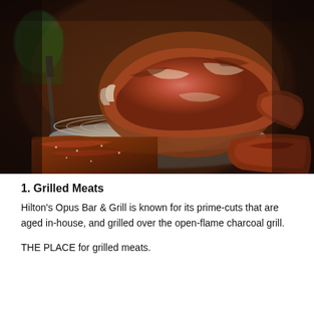[Figure (photo): Close-up food photography of prime cut grilled meat (rib roast) on a circular wire rack/plate, with ribs and other grilled meats below, dark atmospheric background with warm amber lighting]
1. Grilled Meats
Hilton's Opus Bar & Grill is known for its prime-cuts that are aged in-house, and grilled over the open-flame charcoal grill.
THE PLACE for grilled meats.